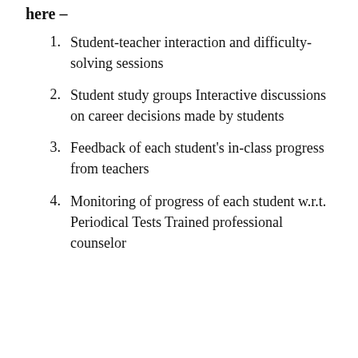here –
Student-teacher interaction and difficulty-solving sessions
Student study groups Interactive discussions on career decisions made by students
Feedback of each student's in-class progress from teachers
Monitoring of progress of each student w.r.t. Periodical Tests Trained professional counselor